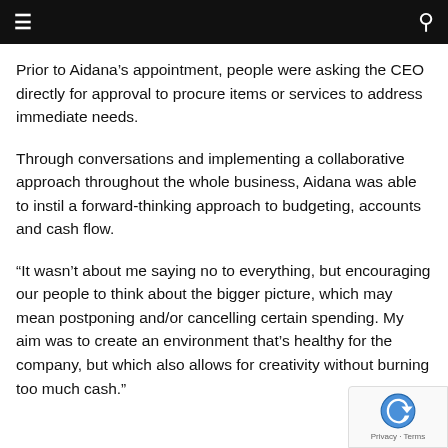≡  🔍
Prior to Aidana's appointment, people were asking the CEO directly for approval to procure items or services to address immediate needs.
Through conversations and implementing a collaborative approach throughout the whole business, Aidana was able to instil a forward-thinking approach to budgeting, accounts and cash flow.
“It wasn't about me saying no to everything, but encouraging our people to think about the bigger picture, which may mean postponing and/or cancelling certain spending. My aim was to create an environment that’s healthy for the company, but which also allows for creativity without burning too much cash.”